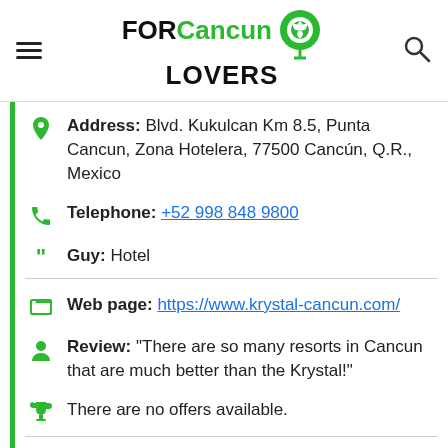FOR Cancun LOVERS
Address: Blvd. Kukulcan Km 8.5, Punta Cancun, Zona Hotelera, 77500 Cancún, Q.R., Mexico
Telephone: +52 998 848 9800
Guy: Hotel
Web page: https://www.krystal-cancun.com/
Review: "There are so many resorts in Cancun that are much better than the Krystal!"
There are no offers available.
Near Krystal Cancún:
a 30 meters away cheap car rentals: Price Car Rentals - Renta de Autos en Cancun Zona Hotelera
a 46 meters away chicken roasters: Wings Army Cancún Zona Hotelera